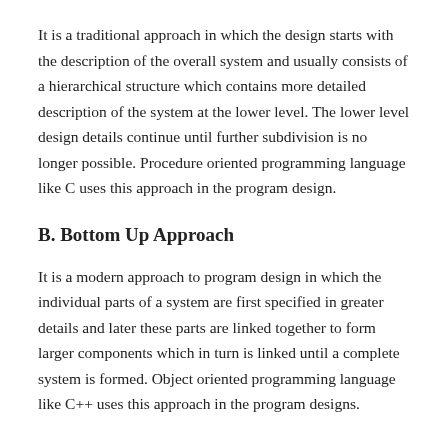It is a traditional approach in which the design starts with the description of the overall system and usually consists of a hierarchical structure which contains more detailed description of the system at the lower level. The lower level design details continue until further subdivision is no longer possible. Procedure oriented programming language like C uses this approach in the program design.
B. Bottom Up Approach
It is a modern approach to program design in which the individual parts of a system are first specified in greater details and later these parts are linked together to form larger components which in turn is linked until a complete system is formed. Object oriented programming language like C++ uses this approach in the program designs.